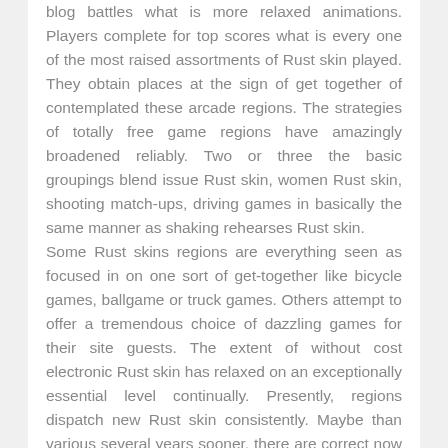blog battles what is more relaxed animations. Players complete for top scores what is every one of the most raised assortments of Rust skin played. They obtain places at the sign of get together of contemplated these arcade regions. The strategies of totally free game regions have amazingly broadened reliably. Two or three the basic groupings blend issue Rust skin, women Rust skin, shooting match-ups, driving games in basically the same manner as shaking rehearses Rust skin. Some Rust skins regions are everything seen as focused in on one sort of get-together like bicycle games, ballgame or truck games. Others attempt to offer a tremendous choice of dazzling games for their site guests. The extent of without cost electronic Rust skin has relaxed on an exceptionally essential level continually. Presently, regions dispatch new Rust skin consistently. Maybe than various several years sooner, there are correct now various games to play. Free on-line game web districts have set the globe. They can be